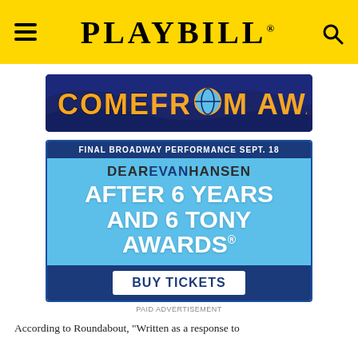PLAYBILL
[Figure (illustration): Come From Away musical banner — dark blue background with yellow and orange stylized text reading 'COME FROM AWAY', the 'O' replaced with a globe icon]
[Figure (illustration): Dear Evan Hansen advertisement. Dark blue header reads 'FINAL BROADWAY PERFORMANCE SEPT. 18'. Light blue body shows 'DEAR EVAN HANSEN' title and large white text 'AFTER 6 YEARS AND 6 TONY AWARDS'. Dark blue footer has white box with 'BUY TICKETS' in dark blue.]
PAID ADVERTISEMENT
According to Roundabout, "Written as a response to